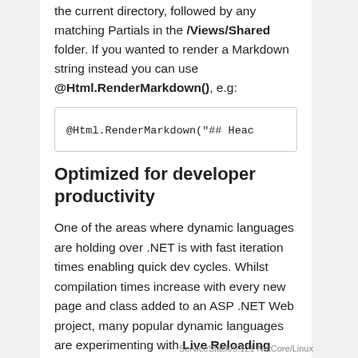the current directory, followed by any matching Partials in the /Views/Shared folder. If you wanted to render a Markdown string instead you can use @Html.RenderMarkdown(), e.g:
Optimized for developer productivity
One of the areas where dynamic languages are holding over .NET is with fast iteration times enabling quick dev cycles. Whilst compilation times increase with every new page and class added to an ASP .NET Web project, many popular dynamic languages are experimenting with Live Reloading
ServiceStack/5.121 NetCore/Linux